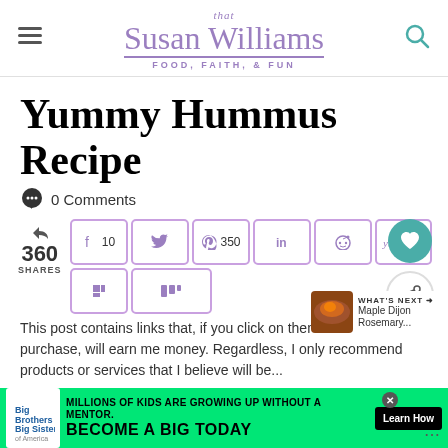that Susan Williams — FOOD, FAITH, & FUN
Yummy Hummus Recipe
0 Comments
360 SHARES — social share buttons: Facebook (10), Twitter, Pinterest (350), LinkedIn, Reddit, Yummly (395), Flipboard, Mix
WHAT'S NEXT → Maple Dijon Rosemary...
This post contains links that, if you click on them and make a purchase, will earn me money. Regardless, I only recommend products or services that I believe will be...
[Figure (infographic): Big Brothers Big Sisters advertisement banner — green background, text: MILLIONS OF KIDS ARE GROWING UP WITHOUT A MENTOR. BECOME A BIG TODAY. Learn How button.]